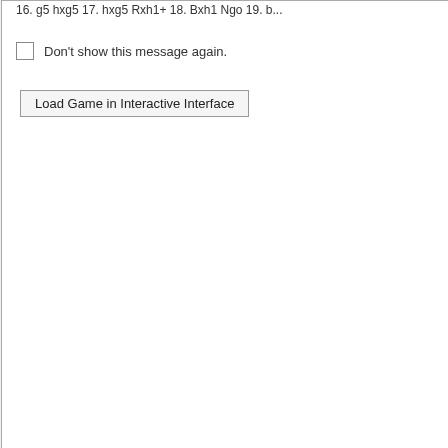16. g5 hxg5 17. hxg5 Rxh1+ 18. Bxh1 Ngo 19. b...
Don't show this message again.
Load Game in Interactive Interface
PGN Viewer
Moves: